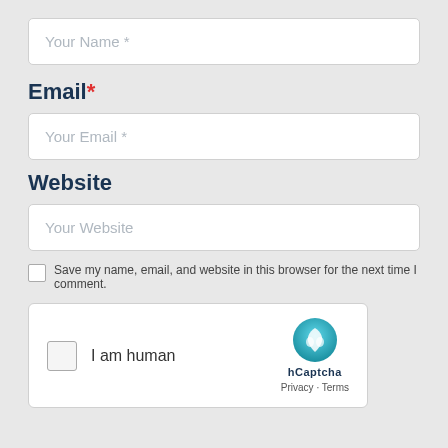[Figure (screenshot): Input field with placeholder text 'Your Name *']
Email *
[Figure (screenshot): Input field with placeholder text 'Your Email *']
Website
[Figure (screenshot): Input field with placeholder text 'Your Website']
Save my name, email, and website in this browser for the next time I comment.
[Figure (screenshot): hCaptcha widget with checkbox, 'I am human' text, hCaptcha logo, Privacy and Terms links]